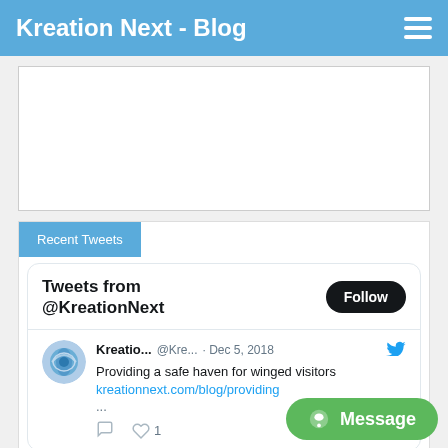Kreation Next - Blog
[Figure (other): White advertisement placeholder area]
Recent Tweets
Tweets from @KreationNext
Kreatio... @Kre... · Dec 5, 2018 Providing a safe haven for winged visitors kreationnext.com/blog/providing ...
[Figure (other): Green Message button overlay at bottom right]